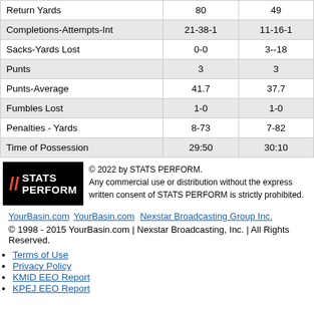|  | Col1 | Col2 |
| --- | --- | --- |
| Return Yards | 80 | 49 |
| Completions-Attempts-Int | 21-38-1 | 11-16-1 |
| Sacks-Yards Lost | 0-0 | 3--18 |
| Punts | 3 | 3 |
| Punts-Average | 41.7 | 37.7 |
| Fumbles Lost | 1-0 | 1-0 |
| Penalties - Yards | 8-73 | 7-82 |
| Time of Possession | 29:50 | 30:10 |
[Figure (logo): STATS PERFORM logo on black background with red and orange slashes]
© 2022 by STATS PERFORM. Any commercial use or distribution without the express written consent of STATS PERFORM is strictly prohibited.
YourBasin.com | YourBasin.com Nexstar Broadcasting Group Inc.
© 1998 - 2015 YourBasin.com | Nexstar Broadcasting, Inc. | All Rights Reserved.
Terms of Use
Privacy Policy
KMID EEO Report
KPEJ EEO Report